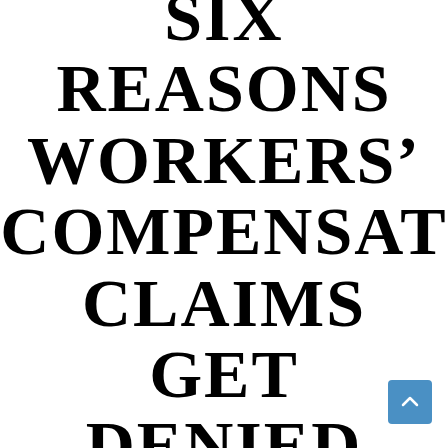SIX REASONS WORKERS' COMPENSATION CLAIMS GET DENIED